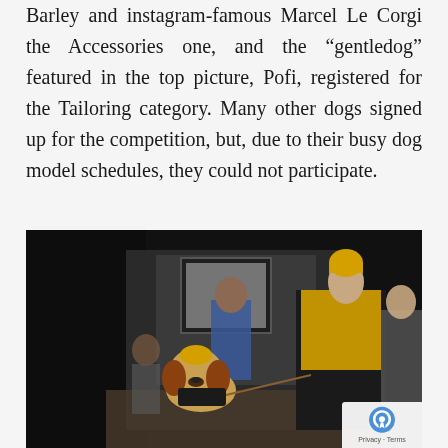Barley and instagram-famous Marcel Le Corgi the Accessories one, and the “gentledog” featured in the top picture, Pofi, registered for the Tailoring category. Many other dogs signed up for the competition, but, due to their busy dog model schedules, they could not participate.
[Figure (photo): A beagle dog dressed in a costume (appears to be wearing a small yellow knit hat and a dark bandana/outfit) being held on a leash by a woman wearing yellow and black clothing. Several people are visible in the background in what appears to be an indoor event space.]